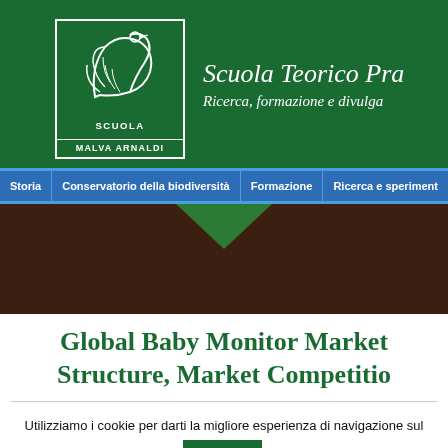[Figure (logo): Scuola Malva Arnaldi logo with bird/swan illustration inside a rectangular border, white on green background]
Scuola Teorico Pra... | Ricerca, formazione e divulga...
Storia | Conservatorio della biodiversità | Formazione | Ricerca e speriment...
[Figure (illustration): Dark brown banner with green downward-pointing chevron/arrow and a second darker arrow below it]
Global Baby Monitor Market Structure, Market Competitio...
Utilizziamo i cookie per darti la migliore esperienza di navigazione sul nostro sito. Accetta Leggi tutto